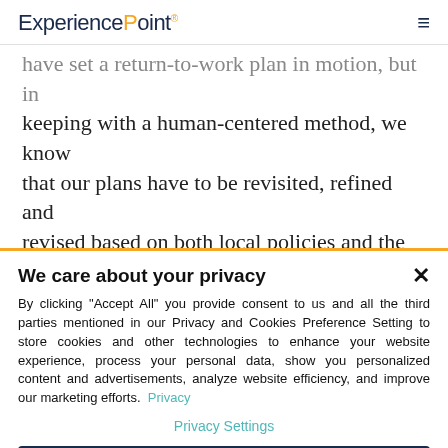ExperiencePoint
have set a return-to-work plan in motion, but in keeping with a human-centered method, we know that our plans have to be revisited, refined and revised based on both local policies and the all-important needs of our people.
We care about your privacy
By clicking "Accept All" you provide consent to us and all the third parties mentioned in our Privacy and Cookies Preference Setting to store cookies and other technologies to enhance your website experience, process your personal data, show you personalized content and advertisements, analyze website efficiency, and improve our marketing efforts. Privacy
Privacy Settings
Do Not Sell My Data
Accept All